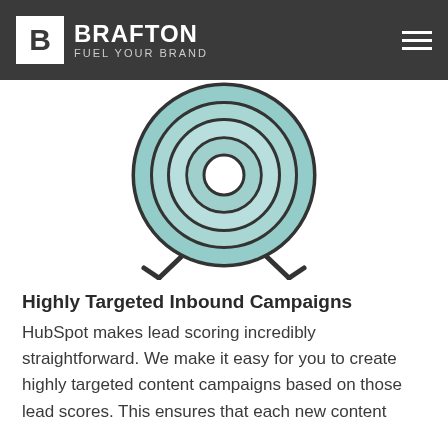BRAFTON FUEL YOUR BRAND
[Figure (illustration): Illustrated alarm clock / target with concentric circles in teal and white with dark outlines, clock legs at bottom, shown partially cut off at top by dark header bar.]
Highly Targeted Inbound Campaigns
HubSpot makes lead scoring incredibly straightforward. We make it easy for you to create highly targeted content campaigns based on those lead scores. This ensures that each new content campaign is successfully targeted and